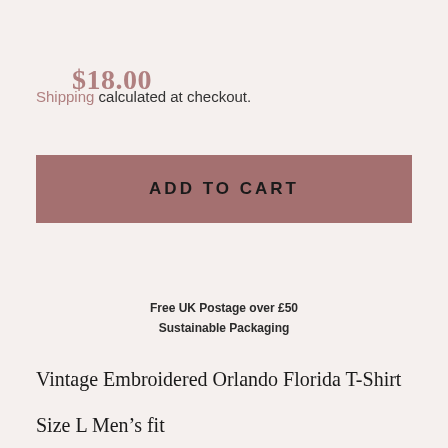$18.00
Shipping calculated at checkout.
ADD TO CART
Free UK Postage over £50
Sustainable Packaging
Vintage Embroidered Orlando Florida T-Shirt
Size L Men's fit